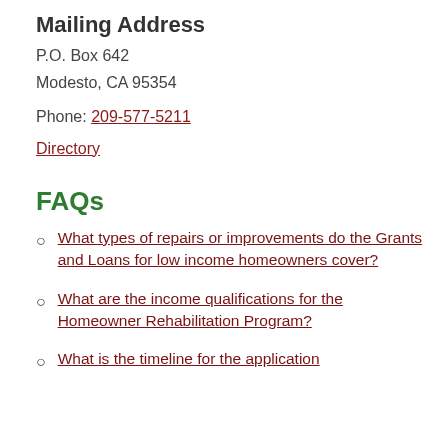Mailing Address
P.O. Box 642
Modesto, CA 95354
Phone: 209-577-5211
Directory
FAQs
What types of repairs or improvements do the Grants and Loans for low income homeowners cover?
What are the income qualifications for the Homeowner Rehabilitation Program?
What is the timeline for the application